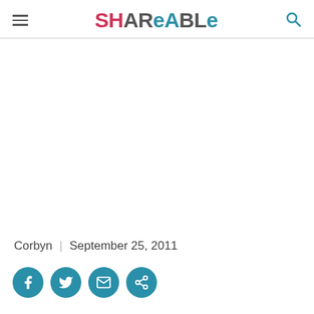SHAREABLE
Corbyn  |  September 25, 2011
[Figure (other): Social sharing buttons: Facebook, Twitter, Email, Share]